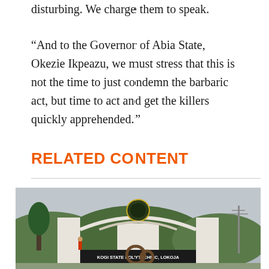disturbing. We charge them to speak.
"And to the Governor of Abia State, Okezie Ikpeazu, we must stress that this is not the time to just condemn the barbaric act, but time to act and get the killers quickly apprehended."
RELATED CONTENT
[Figure (photo): Entrance gate of Kogi State Polytechnic, Lokoja. A white arch gate with institutional crest on top, surrounded by trees and hills in the background. A sign reads 'KOGI STATE POLYTECHNIC, LOKOJA'.]